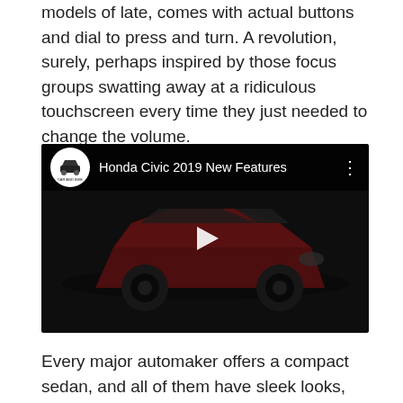models of late, comes with actual buttons and dial to press and turn. A revolution, surely, perhaps inspired by those focus groups swatting away at a ridiculous touchscreen every time they just needed to change the volume.
[Figure (screenshot): YouTube video thumbnail showing a red Honda Civic 2019 with channel logo 'CAR AND BIKE' and title 'Honda Civic 2019 New Features', with play button overlay]
Every major automaker offers a compact sedan, and all of them have sleek looks, that new car smell and a bright display of metallic paints. When it comes to comparing